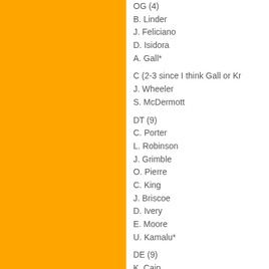OG (4)
B. Linder
J. Feliciano
D. Isidora
A. Gall*
C (2-3 since I think Gall or Kr
J. Wheeler
S. McDermott
DT (9)
C. Porter
L. Robinson
J. Grimble
O. Pierre
C. King
J. Briscoe
D. Ivery
E. Moore
U. Kamalu*
DE (9)
K. Cain
S. Green
A. Chickillo